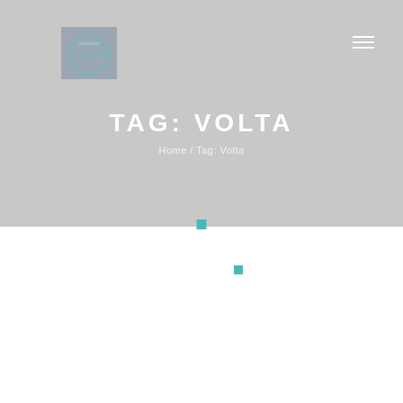[Figure (logo): Circular logo with teal wave graphic and text 'leannissi' on a muted blue-grey square background]
TAG: VOLTA
Home / Tag: Volta